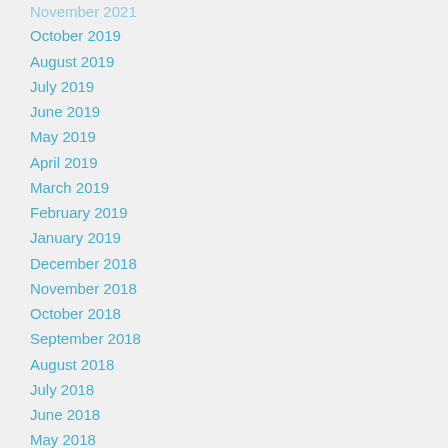November 2021
October 2019
August 2019
July 2019
June 2019
May 2019
April 2019
March 2019
February 2019
January 2019
December 2018
November 2018
October 2018
September 2018
August 2018
July 2018
June 2018
May 2018
January 2018
November 2017
October 2017
September 2017
August 2017
July 2017